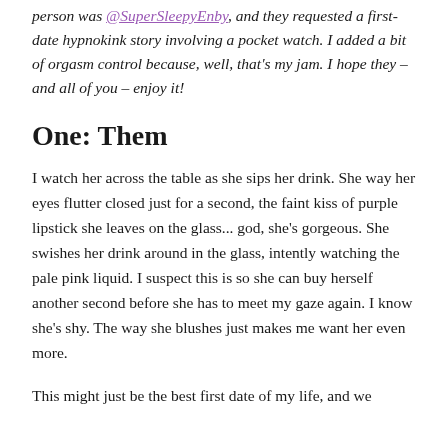person was @SuperSleepyEnby, and they requested a first-date hypnokink story involving a pocket watch. I added a bit of orgasm control because, well, that's my jam. I hope they – and all of you – enjoy it!
One: Them
I watch her across the table as she sips her drink. She way her eyes flutter closed just for a second, the faint kiss of purple lipstick she leaves on the glass... god, she's gorgeous. She swishes her drink around in the glass, intently watching the pale pink liquid. I suspect this is so she can buy herself another second before she has to meet my gaze again. I know she's shy. The way she blushes just makes me want her even more.
This might just be the best first date of my life, and we